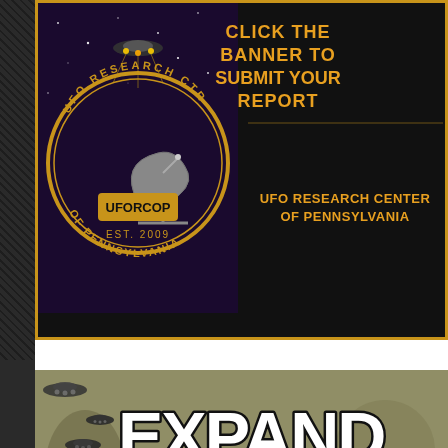[Figure (logo): UFO Research Center of Pennsylvania banner with circular logo badge showing UFO/satellite dish imagery, gold border, black background. Badge reads 'UFORCOP Est. 2009'. Text: 'CLICK THE BANNER TO SUBMIT YOUR REPORT', 'UFO RESEARCH CENTER OF PENNSYLVANIA']
[Figure (illustration): Expanded Perspectives banner/advertisement with grunge style artwork showing flying saucers/UFOs in the sky. Large bold white text with black outline reads 'EXPANDED PERSPECTIVES'. Alien/creature figure visible at bottom.]